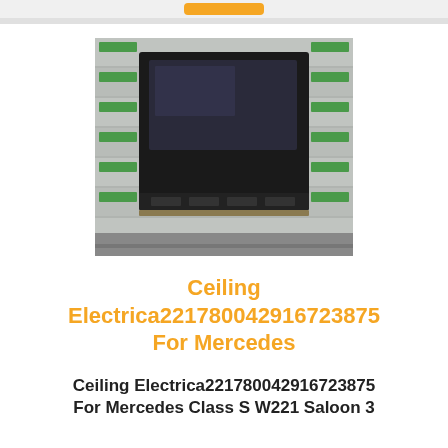[Figure (photo): Ceiling electrical unit/module for Mercedes, black component photographed against a warehouse shelf background]
Ceiling Electrica221780042916723875 For Mercedes
Ceiling Electrica221780042916723875 For Mercedes Class S W221 Saloon 3